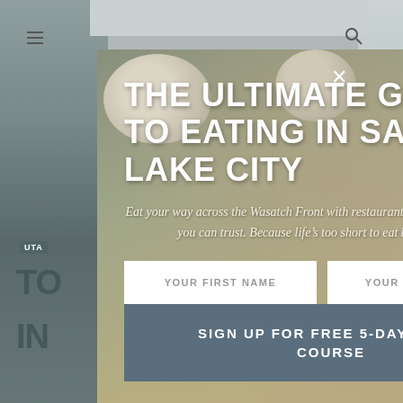[Figure (screenshot): Website popup modal overlay showing a food photo background with a sign-up form for 'The Ultimate Guide to Eating in Salt Lake City'. The modal contains a title, subtitle text, two input fields and a submit button. Behind the modal is a website page partially visible.]
THE ULTIMATE GUIDE TO EATING IN SALT LAKE CITY
Eat your way across the Wasatch Front with restaurants recommendations you can trust. Because life’s too short to eat bad food.
YOUR FIRST NAME
YOUR EMAIL ADDRI
SIGN UP FOR FREE 5-DAY EMAIL COURSE